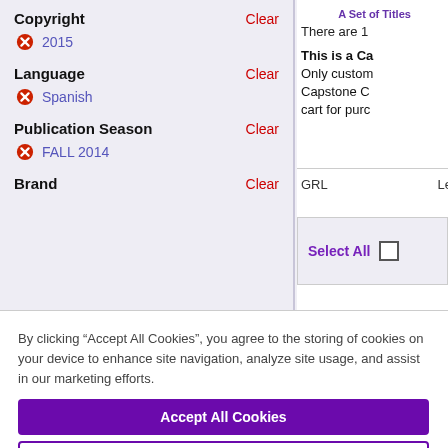Copyright
2015
Language
Spanish
Publication Season
FALL 2014
Brand
A Set of Titles
There are 1
This is a Ca Only custom Capstone C cart for purc
GRL  Le
Select All
By clicking “Accept All Cookies”, you agree to the storing of cookies on your device to enhance site navigation, analyze site usage, and assist in our marketing efforts.
Accept All Cookies
Cookies Settings